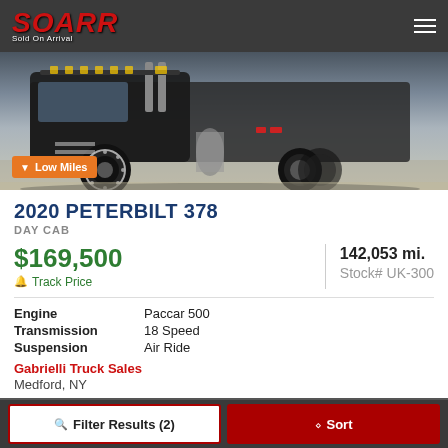SOARR — Sold On Arrival
[Figure (photo): Close-up photo of a semi-truck undercarriage showing large black tires, chrome wheel, and red reflectors, parked on pavement. Orange badge reads 'Low Miles' with down arrow.]
2020 PETERBILT 378
DAY CAB
$169,500
Track Price
142,053 mi.
Stock# UK-300
| Spec | Value |
| --- | --- |
| Engine | Paccar 500 |
| Transmission | 18 Speed |
| Suspension | Air Ride |
Gabrielli Truck Sales
Medford, NY
Filter Results (2)   Sort